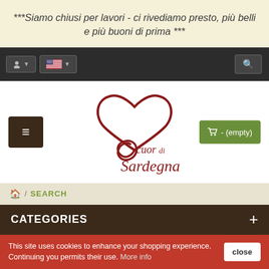***Siamo chiusi per lavori - ci rivediamo presto, più belli e più buoni di prima ***
[Figure (screenshot): Navigation bar with user icon, US flag language selector, and search icon on dark background]
[Figure (logo): Cuor di Sardegna logo with dark red heart shape and cursive text, with hamburger menu button on left and empty cart button on right]
🏠 / SEARCH
CATEGORIES
This site uses cookies to enhance your shopping experience. Continuing you permits their use. More info